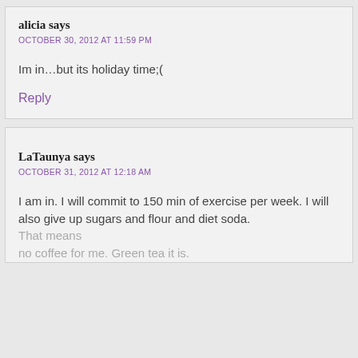alicia says
OCTOBER 30, 2012 AT 11:59 PM
Im in...but its holiday time;(
Reply
LaTaunya says
OCTOBER 31, 2012 AT 12:18 AM
I am in. I will commit to 150 min of exercise per week. I will also give up sugars and flour and diet soda. That means no coffee for me. Green tea it is.